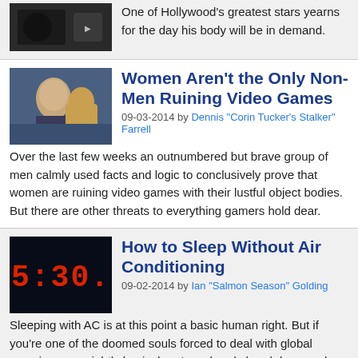One of Hollywood's greatest stars yearns for the day his body will be in demand.
Women Aren't the Only Non-Men Ruining Video Games
09-03-2014 by Dennis "Corin Tucker's Stalker" Farrell
Over the last few weeks an outnumbered but brave group of men calmly used facts and logic to conclusively prove that women are ruining video games with their lustful object bodies. But there are other threats to everything gamers hold dear.
How to Sleep Without Air Conditioning
09-02-2014 by Ian "Salmon Season" Golding
Sleeping with AC is at this point a basic human right. But if you're one of the doomed souls forced to deal with global warming on a nightly basis, here's an hourly breakdown on how to get the most out of your inferno hellscape of a bedroom.